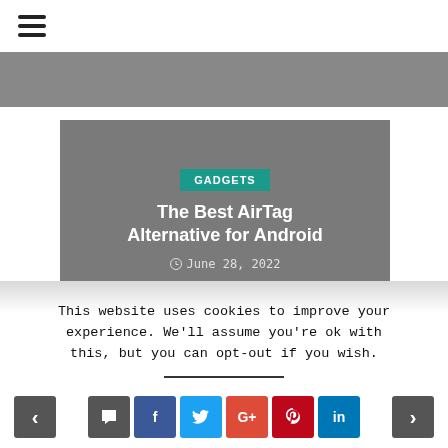≡ (hamburger menu icon)
[Figure (photo): Top partial image strip, dark gray/blurred banner]
[Figure (screenshot): Article card with gray background, GADGETS badge, article title 'The Best AirTag Alternative for Android', and date June 28, 2022]
This website uses cookies to improve your experience. We'll assume you're ok with this, but you can opt-out if you wish.
< [comment] [f] [t] [G+] [pinterest] [in] >